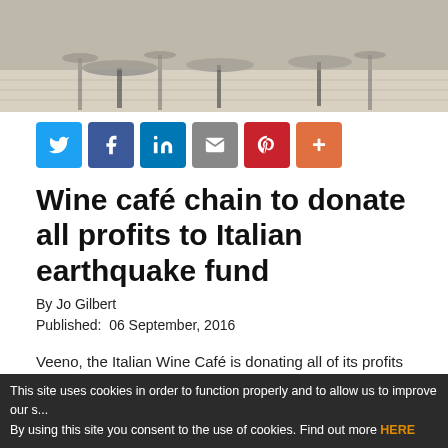[Figure (photo): Interior photo of a cafe/restaurant with bar stools and chairs on a light wood floor]
[Figure (infographic): Row of social sharing buttons: Twitter (blue), Facebook (dark blue), LinkedIn (blue), Email (grey), Pinterest (red), More (orange)]
Wine café chain to donate all profits to Italian earthquake fund
By Jo Gilbert
Published:  06 September, 2016
Veeno, the Italian Wine Café is donating all of its profits from one day of trading to aid those affected by the recent Italian earthquake disaster.
Today, (September 6), profits from the sales in each of Veeno's eight cafés and online will be sent to Rotaract Rieti - an Italian
This site uses cookies in order to function properly and to allow us to improve our s... By using this site you consent to the use of cookies. Find out more HERE